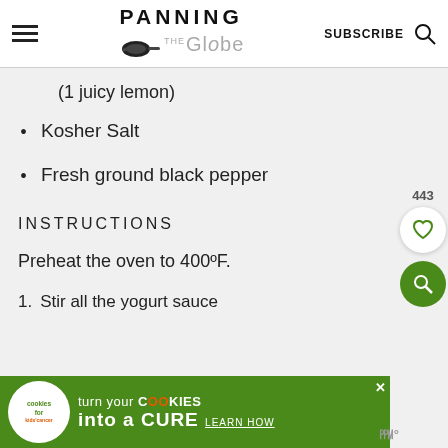PANNING THE Globe | SUBSCRIBE
(1 juicy lemon)
Kosher Salt
Fresh ground black pepper
INSTRUCTIONS
Preheat the oven to 400ºF.
1.  Stir all the yogurt sauce
[Figure (infographic): Advertisement banner: cookies for kids cancer - turn your COOKIES into a CURE LEARN HOW]
443